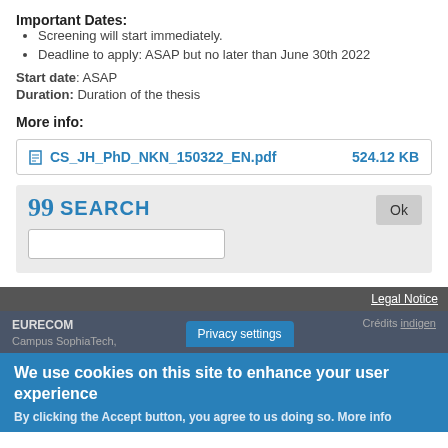Important Dates:
Screening will start immediately.
Deadline to apply: ASAP but no later than June 30th 2022
Start date: ASAP
Duration: Duration of the thesis
More info:
CS_JH_PhD_NKN_150322_EN.pdf   524.12 KB
[Figure (screenshot): Search widget with quote icon, SEARCH label, Ok button, and text input field]
Legal Notice
EURECOM
Campus SophiaTech,
Crédits indigen
Privacy settings
We use cookies on this site to enhance your user experience
By clicking the Accept button, you agree to us doing so. More info